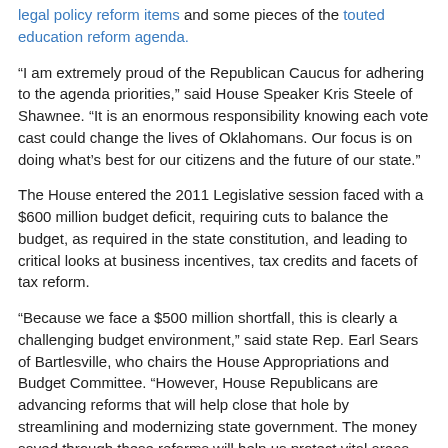legal policy reform items and some pieces of the touted education reform agenda.
“I am extremely proud of the Republican Caucus for adhering to the agenda priorities,” said House Speaker Kris Steele of Shawnee. “It is an enormous responsibility knowing each vote cast could change the lives of Oklahomans. Our focus is on doing what’s best for our citizens and the future of our state.”
The House entered the 2011 Legislative session faced with a $600 million budget deficit, requiring cuts to balance the budget, as required in the state constitution, and leading to critical looks at business incentives, tax credits and facets of tax reform.
“Because we face a $500 million shortfall, this is clearly a challenging budget environment,” said state Rep. Earl Sears of Bartlesville, who chairs the House Appropriations and Budget Committee. “However, House Republicans are advancing reforms that will help close that hole by streamlining and modernizing state government. The money saved through these reforms will help us protect vital areas such as education, transportation and public safety.”